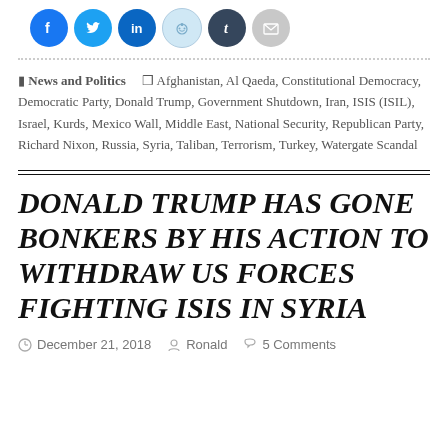[Figure (other): Social media sharing icons: Facebook (blue circle), Twitter (blue circle), LinkedIn (blue circle), Reddit (light blue circle), Tumblr (dark blue circle), Email (grey circle)]
News and Politics   Afghanistan, Al Qaeda, Constitutional Democracy, Democratic Party, Donald Trump, Government Shutdown, Iran, ISIS (ISIL), Israel, Kurds, Mexico Wall, Middle East, National Security, Republican Party, Richard Nixon, Russia, Syria, Taliban, Terrorism, Turkey, Watergate Scandal
DONALD TRUMP HAS GONE BONKERS BY HIS ACTION TO WITHDRAW US FORCES FIGHTING ISIS IN SYRIA
December 21, 2018   Ronald   5 Comments